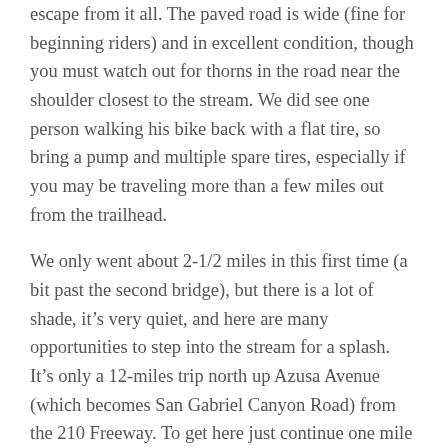escape from it all. The paved road is wide (fine for beginning riders) and in excellent condition, though you must watch out for thorns in the road near the shoulder closest to the stream. We did see one person walking his bike back with a flat tire, so bring a pump and multiple spare tires, especially if you may be traveling more than a few miles out from the trailhead.
We only went about 2-1/2 miles in this first time (a bit past the second bridge), but there is a lot of shade, it’s very quiet, and here are many opportunities to step into the stream for a splash. It’s only a 12-miles trip north up Azusa Avenue (which becomes San Gabriel Canyon Road) from the 210 Freeway. To get here just continue one mile past the East Fork Road bridge (like you are going to Crystal Lake) and park in the West Fork Day Use area on the left. This Day Use area is just past a bridge on the